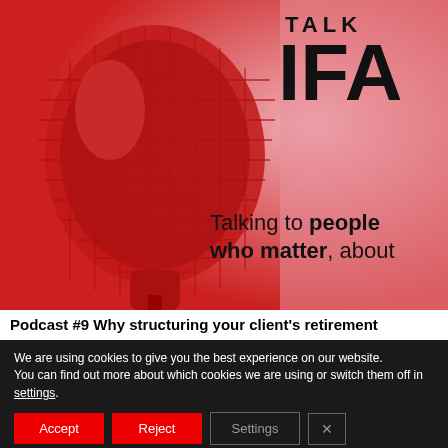[Figure (illustration): Talk IFA podcast cover image showing a red vintage microphone on a pink/red background. Text overlay reads 'TALK IFA' in bold black at top right, and 'Talking to people who matter, about' in mixed weight text at bottom right.]
Podcast #9 Why structuring your client's retirement
We are using cookies to give you the best experience on our website.
You can find out more about which cookies we are using or switch them off in settings.